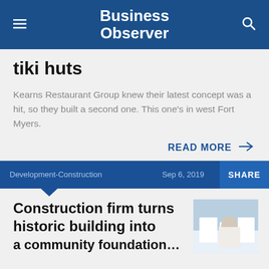Business Observer
tiki huts
Kearns Restaurant Group knew their latest concept was a hit, so they built a second one. This one's in west Fort Myers.
READ MORE →
Development-Construction  Sep 6, 2019  SHARE
Construction firm turns historic building into